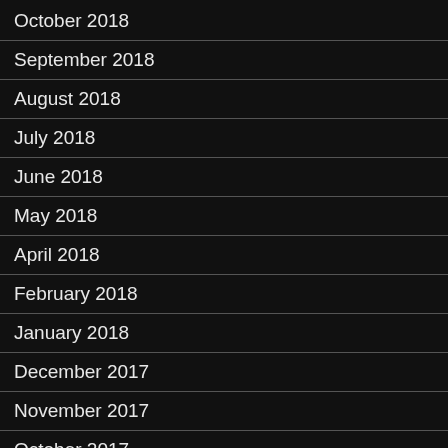October 2018
September 2018
August 2018
July 2018
June 2018
May 2018
April 2018
February 2018
January 2018
December 2017
November 2017
October 2017
September 2017